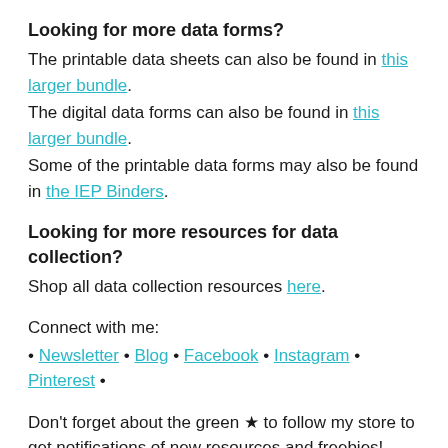Looking for more data forms?
The printable data sheets can also be found in this larger bundle.
The digital data forms can also be found in this larger bundle.
Some of the printable data forms may also be found in the IEP Binders.
Looking for more resources for data collection?
Shop all data collection resources here.
Connect with me:
• Newsletter • Blog • Facebook • Instagram • Pinterest •
Don't forget about the green ★ to follow my store to get notifications of new resources and freebies!
Thanks for Looking and Happy Teaching!